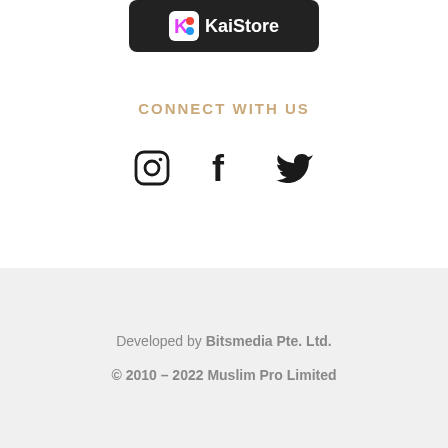[Figure (logo): KaiStore app store banner button with KaiStore logo on dark background]
CONNECT WITH US
[Figure (infographic): Three social media icons: Instagram, Facebook, Twitter]
Developed by Bitsmedia Pte. Ltd.
© 2010 – 2022 Muslim Pro Limited